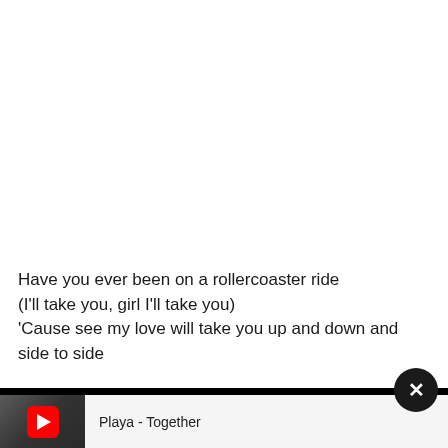Have you ever been on a rollercoaster ride
(I'll take you, girl I'll take you)
'Cause see my love will take you up and down and side to side
[Figure (screenshot): Black bar overlay covering bottom portion of the lyrics, with a close button (X) in a dark circle on the right side]
[Figure (screenshot): YouTube video thumbnail and player bar showing 'Playa - Together' with red YouTube play button icon on a photo of two artists]